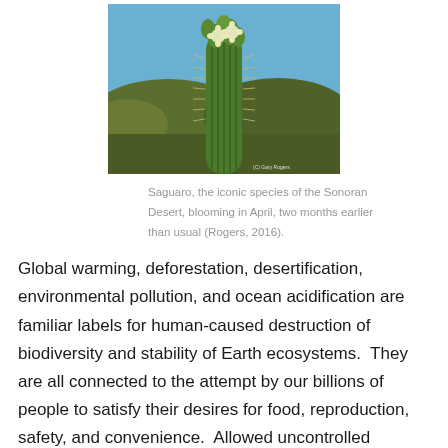[Figure (photo): A saguaro cactus with white flowers blooming at the top, photographed against a blue sky with desert hills in the background. Photo credit: (C) Gary Rogers.]
Saguaro, the iconic species of the Sonoran Desert, blooming in April, two months earlier than usual (Rogers, 2016).
Global warming, deforestation, desertification, environmental pollution, and ocean acidification are familiar labels for human-caused destruction of biodiversity and stability of Earth ecosystems.  They are all connected to the attempt by our billions of people to satisfy their desires for food, reproduction, safety, and convenience.  Allowed uncontrolled expansion, any one of